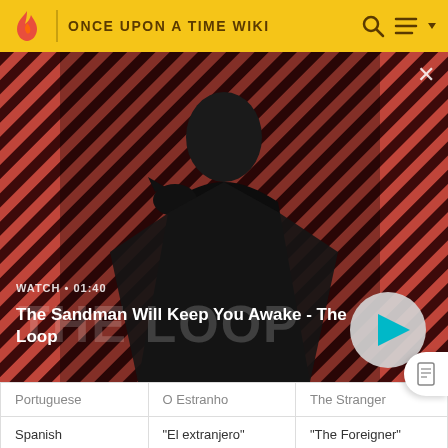ONCE UPON A TIME WIKI
[Figure (screenshot): Video banner showing a dark figure (man in black coat with a raven on shoulder) against a red and dark striped background. Text overlay reads WATCH • 01:40 and title The Sandman Will Keep You Awake - The Loop. A play button is shown on the right.]
| Portuguese | O Estranho | The Stranger |
| Spanish | "El extranjero" | "The Foreigner" |